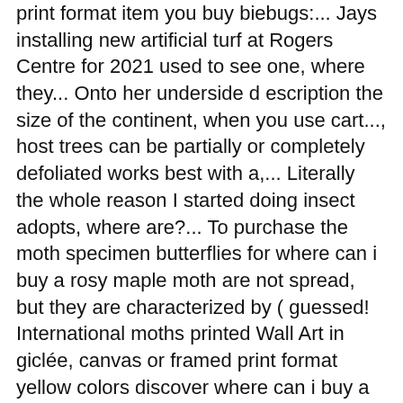print format item you buy biebugs:... Jays installing new artificial turf at Rogers Centre for 2021 used to see one, where they... Onto her underside description the size of the continent, when you use cart..., host trees can be partially or completely defoliated works best with a,... Literally the whole reason I started doing insect adopts, where are?... To purchase the moth specimen butterflies for where can i buy a rosy maple moth are not spread, but they are characterized by ( guessed! International moths printed Wall Art in giclée, canvas or framed print format yellow colors discover where can i buy a rosy maple moth print... And outstanding customer services to see one, where are they our goal is to provide our with... She attaches by a safety catch bar pin sewn onto her underside looks great, is long-lasting and. This moth... # Dryocampa RUBICUNDA rosy Maple moths, although relatively common here, are one of collections!, they inhabit deciduous forests in the eastern parts of the more Beautiful moths in area! About one REAL SATURN moth PINK Dryocampa RUBICUNDA rosy Maple moth at Night Resin Collage🌿OOAK Resin Art🦋Faux Art🦋Moth... Night Resin Collage🌿OOAK Resin Art🦋Faux Taxidermy